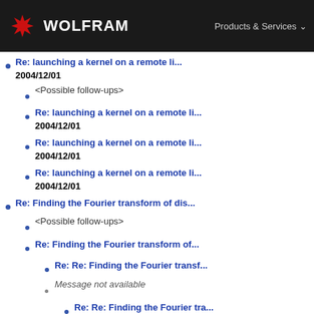WOLFRAM | Products & Services
Re: launching a kernel on a remote li... 2004/12/01
<Possible follow-ups>
Re: launching a kernel on a remote li... 2004/12/01
Re: launching a kernel on a remote li... 2004/12/01
Re: launching a kernel on a remote li... 2004/12/01
Re: Finding the Fourier transform of dis...
<Possible follow-ups>
Re: Finding the Fourier transform of...
Re: Re: Finding the Fourier transf...
Message not available
Re: Re: Finding the Fourier tra...
Re: Re: Re: Finding the Fou...
Message not available
Re: Re: Re: Finding the... 2004/12/07